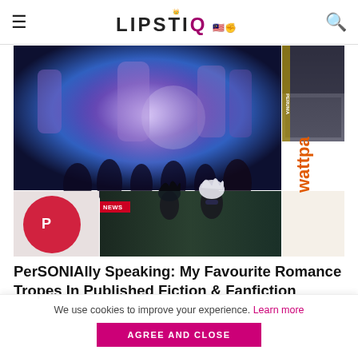LIPSTIQ
[Figure (photo): Collage of images: Avengers movie poster on the left, a smaller TV show image top right, anime characters (Jujutsu Kaisen) bottom center, Wattpad logo bottom right, and a NEWS badge overlay on lower left.]
PerSONIAlly Speaking: My Favourite Romance Tropes In Published Fiction & Fanfiction
We use cookies to improve your experience. Learn more
AGREE AND CLOSE